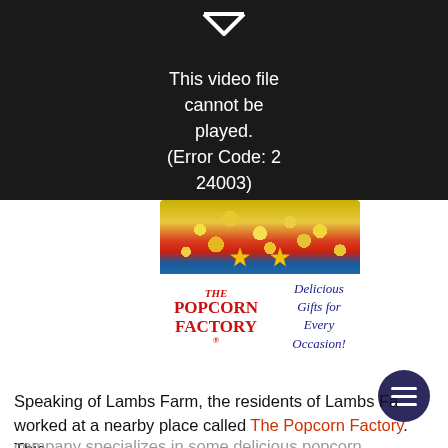[Figure (screenshot): Video player error screen on dark background showing broken video icon and error message: 'This video file cannot be played. (Error Code: 2 24003)']
[Figure (photo): The Popcorn Factory advertisement image showing a colorful tin of popcorn with gold stars, the company logo in red ornate font, and blue italic text reading 'Delicious Gifts for Every Occasion!']
Speaking of Lambs Farm, the residents of Lambs Farm worked at a nearby place called The Popcorn Factory. This company specializes in some delicious popcorn confections and I especially loved how they were able to give jobs to those who had developmental disabilities. Dum the bili
[Figure (other): Dark navy circular hamburger menu button icon with three white horizontal lines]